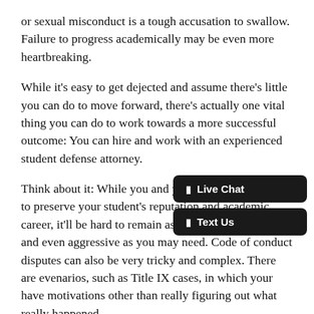or sexual misconduct is a tough accusation to swallow. Failure to progress academically may be even more heartbreaking.
While it's easy to get dejected and assume there's little you can do to move forward, there's actually one vital thing you can do to work towards a more successful outcome: You can hire and work with an experienced student defense attorney.
Think about it: While you and your family are fighting to preserve your student's reputation and academic career, it'll be hard to remain as objective, strategic, and even aggressive as you may need. Code of conduct disputes can also be very tricky and complex. There are even scenarios, such as Title IX cases, in which your have motivations other than really figuring out what really happened.
That's why you need to hire a defense attorney who has